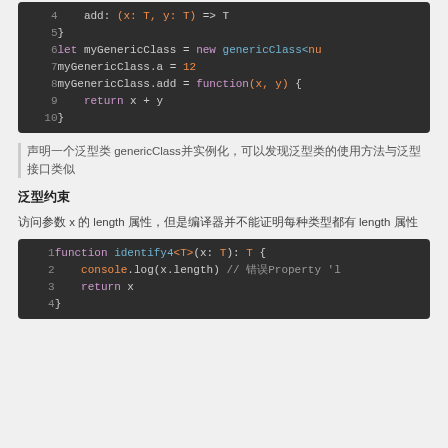[Figure (screenshot): Code block showing TypeScript genericClass instantiation and usage, lines 4-10]
声明一个泛型类 genericClass并实例化，可以发现泛型类的使用方法与泛型接口类似
泛型约束
访问参数 x 的 length 属性，但是编译器并不能证明每种类型都有 length 属性
[Figure (screenshot): Code block showing TypeScript function identify4 with generic T, lines 1-4]
底部截断内容